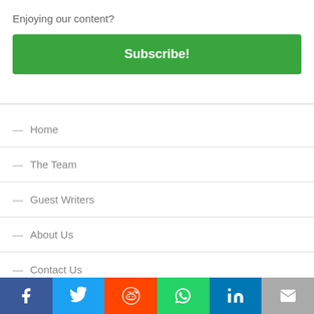Enjoying our content?
Subscribe!
— Home
— The Team
— Guest Writers
— About Us
— Contact Us
[Figure (infographic): Social sharing bar with icons for Facebook, Twitter, Reddit, WhatsApp, LinkedIn, and Email]